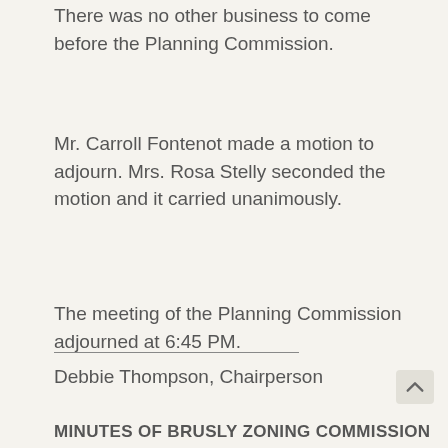There was no other business to come before the Planning Commission.
Mr. Carroll Fontenot made a motion to adjourn. Mrs. Rosa Stelly seconded the motion and it carried unanimously.
The meeting of the Planning Commission adjourned at 6:45 PM.
Debbie Thompson, Chairperson
MINUTES OF BRUSLY ZONING COMMISSION